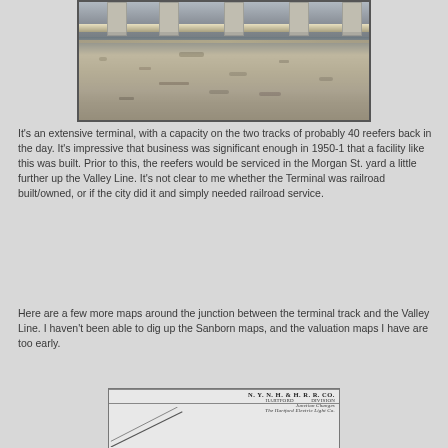[Figure (photo): Photo of a railroad terminal platform showing a long horizontal rail bar supported by concrete pillars, with a gravel/asphalt surface below. Track infrastructure visible.]
It's an extensive terminal, with a capacity on the two tracks of probably 40 reefers back in the day. It's impressive that business was significant enough in 1950-1 that a facility like this was built. Prior to this, the reefers would be serviced in the Morgan St. yard a little further up the Valley Line. It's not clear to me whether the Terminal was railroad built/owned, or if the city did it and simply needed railroad service.
Here are a few more maps around the junction between the terminal track and the Valley Line. I haven't been able to dig up the Sanborn maps, and the valuation maps I have are too early.
[Figure (map): Partial view of a railroad map or document showing 'N. Y. N. H. & H. R. R. CO.' Hartford Division heading, with diagonal lines suggesting track layout. Hartford Electric Light Co. text visible at bottom.]